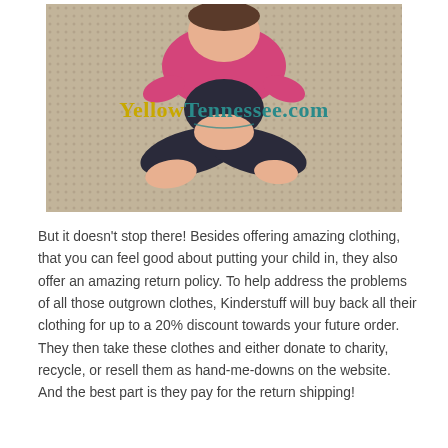[Figure (photo): A child sitting cross-legged on a beige/tan dotted carpet, wearing a pink/magenta long-sleeve top and dark jeans, barefoot. A watermark reading 'YellowTennessee.com' overlays the image in yellow and teal text.]
But it doesn't stop there! Besides offering amazing clothing, that you can feel good about putting your child in, they also offer an amazing return policy. To help address the problems of all those outgrown clothes, Kinderstuff will buy back all their clothing for up to a 20% discount towards your future order. They then take these clothes and either donate to charity, recycle, or resell them as hand-me-downs on the website. And the best part is they pay for the return shipping!